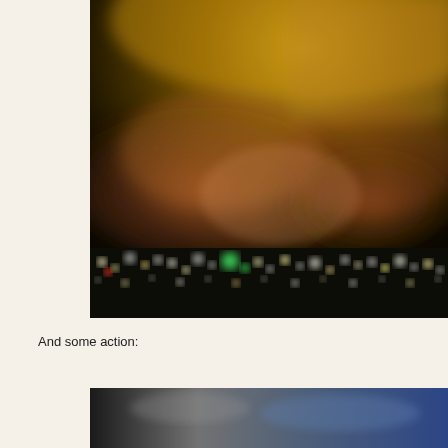[Figure (photo): Blurry night photo showing bokeh city lights at the bottom and a smoky orange/red glow in the upper portion against a dark sky.]
And some action:
[Figure (photo): Partial view of another night/action photo, showing dark background with some gray and blue tones at the bottom of the page.]